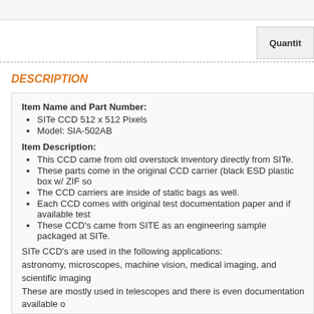Quantity
DESCRIPTION
Item Name and Part Number:
SITe CCD 512 x 512 Pixels
Model: SIA-502AB
Item Description:
This CCD came from old overstock inventory directly from SITe.
These parts come in the original CCD carrier (black ESD plastic box w/ ZIF so
The CCD carriers are inside of static bags as well.
Each CCD comes with original test documentation paper and if available test
These CCD's came from SITE as an engineering sample packaged at SITe.
SITe CCD's are used in the following applications:
astronomy, microscopes, machine vision, medical imaging, and scientific imaging
These are mostly used in telescopes and there is even documentation available o
When this was new...it cost mucho thousands of dollars.
Picture shown is of a similar unit and may not be the exact unit.
Basic Specifications: